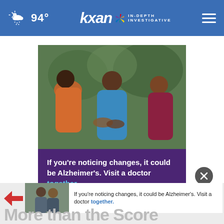94° | KXAN IN-DEPTH INVESTIGATIVE
[Figure (photo): Three women sitting outdoors on a bench in a garden setting. The center woman wears a blue dress, one on the left wears an orange outfit, and one on the right wears a maroon top.]
If you're noticing changes, it could be Alzheimer's. Visit a doctor together.
[Figure (photo): Small thumbnail of two men standing together, used in bottom ad strip.]
If you're noticing changes, it could be Alzheimer's. Visit a doctor together.
More than the Score